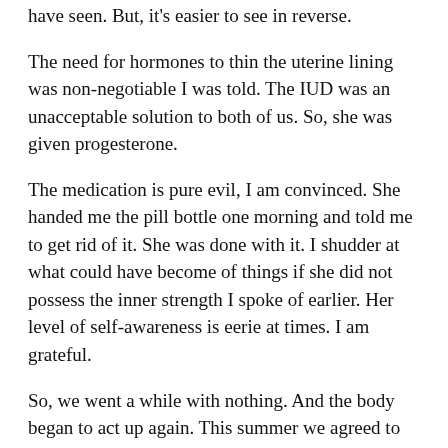have seen.  But, it's easier to see in reverse.
The need for hormones to thin the uterine lining was non-negotiable I was told.  The IUD was an unacceptable solution to both of us.  So, she was given progesterone.
The medication is pure evil, I am convinced.  She handed me the pill bottle one morning and told me to get rid of it.  She was done with it.  I shudder at what could have become of things if she did not possess the inner strength I spoke of earlier.  Her level of self-awareness is eerie at times.  I am grateful.
So, we went a while with nothing.  And the body began to act up again.  This summer we agreed to try a birth control pill.  And, still, several changes later, things are not where they should be.